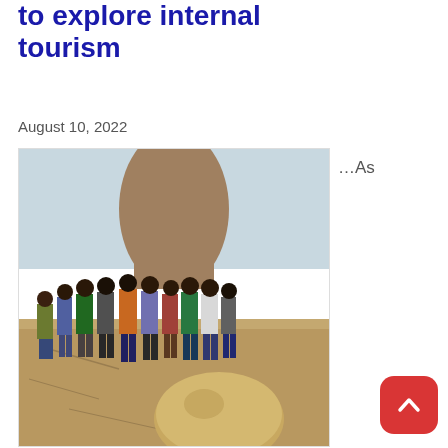to explore internal tourism
August 10, 2022
[Figure (photo): Group of ministry staff members posing on a rocky hilltop tourist site, with a large rock formation behind them and a smaller rounded boulder in the foreground.]
...As
Ministry Staffers Visit Local Tourist Sites The Oyo State Government, over the... more»
APPEALS Project has touched many lives in